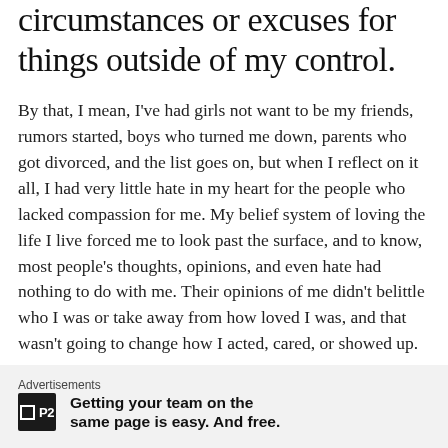circumstances or excuses for things outside of my control.
By that, I mean, I've had girls not want to be my friends, rumors started, boys who turned me down, parents who got divorced, and the list goes on, but when I reflect on it all, I had very little hate in my heart for the people who lacked compassion for me. My belief system of loving the life I live forced me to look past the surface, and to know, most people's thoughts, opinions, and even hate had nothing to do with me. Their opinions of me didn't belittle who I was or take away from how loved I was, and that wasn't going to change how I acted, cared, or showed up.
Advertisements
Getting your team on the same page is easy. And free.